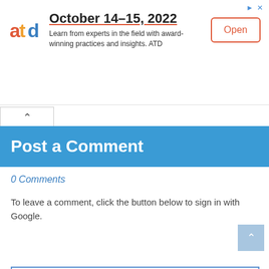[Figure (infographic): ATD advertisement banner: logo on left, title 'October 14-15, 2022', body text about learning from experts, and an 'Open' button on the right]
Post a Comment
0 Comments
To leave a comment, click the button below to sign in with Google.
[Figure (screenshot): SIGN IN WITH GOOGLE button (blue)]
[Figure (screenshot): Two empty input/text area boxes with blue borders at the bottom of the page]